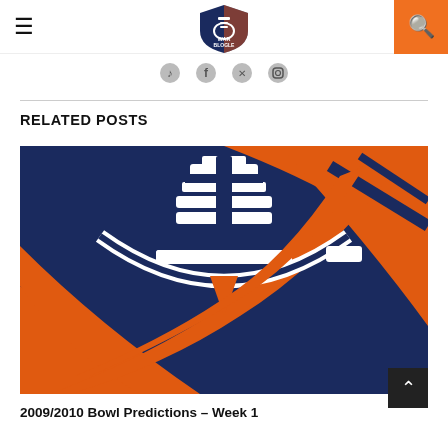War Blogle — navigation bar with hamburger menu, logo, and search button
[Figure (logo): War Blogle football logo — shield shape with navy and orange football laces graphic]
[Figure (illustration): War Blogle football logo graphic — large close-up of navy blue and orange football laces icon]
RELATED POSTS
2009/2010 Bowl Predictions – Week 1